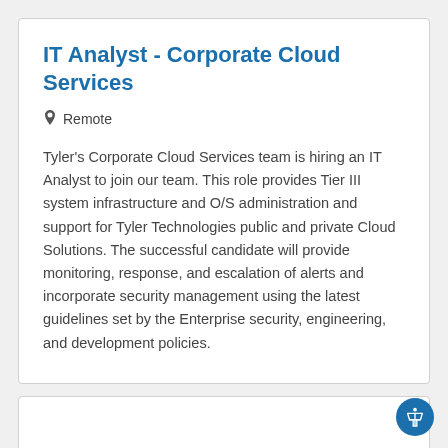IT Analyst - Corporate Cloud Services
Remote
Tyler's Corporate Cloud Services team is hiring an IT Analyst to join our team. This role provides Tier III system infrastructure and O/S administration and support for Tyler Technologies public and private Cloud Solutions. The successful candidate will provide monitoring, response, and escalation of alerts and incorporate security management using the latest guidelines set by the Enterprise security, engineering, and development policies.